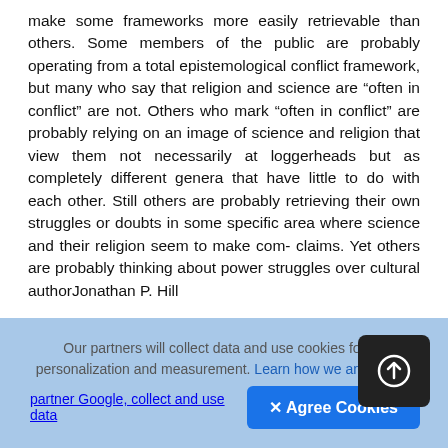make some frameworks more easily retrievable than others. Some members of the public are probably operating from a total epistemological conflict framework, but many who say that religion and science are “often in conflict” are not. Others who mark “often in conflict” are probably relying on an image of science and religion that view them not necessarily at loggerheads but as completely different genera that have little to do with each other. Still others are probably retrieving their own struggles or doubts in some specific area where science and their religion seem to make com- claims. Yet others are probably thinking about power struggles over cultural authorJonathan P. Hill
[Figure (other): Upload/share icon button — dark rounded square with a circle-arrow-up symbol]
Our partners will collect data and use cookies for ad personalization and measurement. Learn how we and our ad partner Google, collect and use data   ✕ Agree Cookies